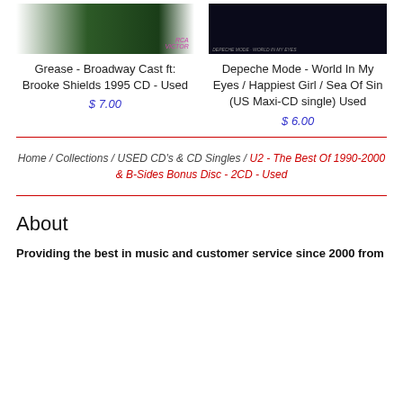[Figure (photo): Album cover for Grease Broadway Cast - green background with RCA Victor logo]
Grease - Broadway Cast ft: Brooke Shields 1995 CD - Used
$ 7.00
[Figure (photo): Album cover for Depeche Mode - dark background with teal/blue element]
Depeche Mode - World In My Eyes / Happiest Girl / Sea Of Sin (US Maxi-CD single) Used
$ 6.00
Home / Collections / USED CD's & CD Singles / U2 - The Best Of 1990-2000 & B-Sides Bonus Disc - 2CD - Used
About
Providing the best in music and customer service since 2000 from